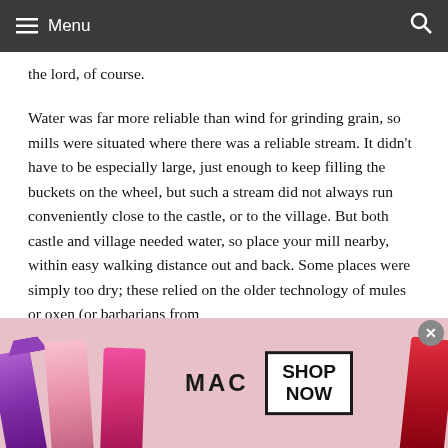Menu
the lord, of course.
Water was far more reliable than wind for grinding grain, so mills were situated where there was a reliable stream. It didn't have to be especially large, just enough to keep filling the buckets on the wheel, but such a stream did not always run conveniently close to the castle, or to the village. But both castle and village needed water, so place your mill nearby, within easy walking distance out and back. Some places were simply too dry; these relied on the older technology of mules or oxen (or barbarians from
[Figure (photo): MAC cosmetics advertisement showing lipsticks in purple, pink, and red colors with MAC logo and SHOP NOW button in a box]